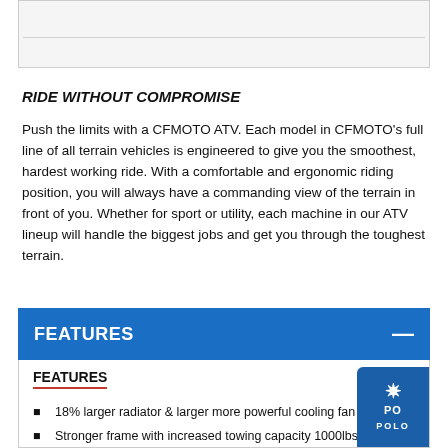[Figure (other): Gray box with horizontal rule lines at the top of the page]
RIDE WITHOUT COMPROMISE
Push the limits with a CFMOTO ATV. Each model in CFMOTO's full line of all terrain vehicles is engineered to give you the smoothest, hardest working ride. With a comfortable and ergonomic riding position, you will always have a commanding view of the terrain in front of you. Whether for sport or utility, each machine in our ATV lineup will handle the biggest jobs and get you through the toughest terrain.
FEATURES
FEATURES
18% larger radiator & larger more powerful cooling fan
Stronger frame with increased towing capacity 1000lbs
AA arm front & rear independent suspension with